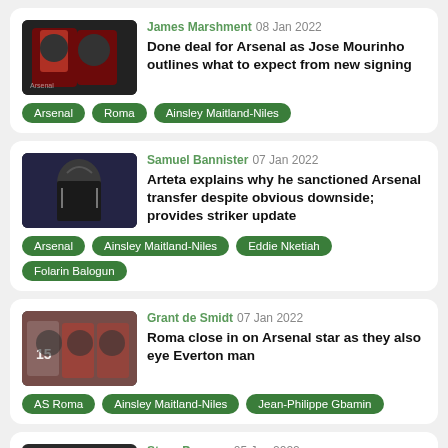James Marshment  08 Jan 2022
Done deal for Arsenal as Jose Mourinho outlines what to expect from new signing
Arsenal  Roma  Ainsley Maitland-Niles
Samuel Bannister  07 Jan 2022
Arteta explains why he sanctioned Arsenal transfer despite obvious downside; provides striker update
Arsenal  Ainsley Maitland-Niles  Eddie Nketiah  Folarin Balogun
Grant de Smidt  07 Jan 2022
Roma close in on Arsenal star as they also eye Everton man
AS Roma  Ainsley Maitland-Niles  Jean-Philippe Gbamin
Steve Pearson  05 Jan 2022
Arsenal striker deal reaches final stretch; medical...